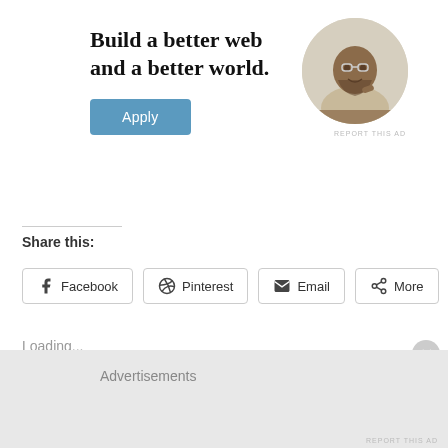[Figure (illustration): Advertisement banner with bold text 'Build a better web and a better world.' with an Apply button and a circular photo of a man sitting at a desk thinking]
REPORT THIS AD
Share this:
Facebook
Pinterest
Email
More
Loading...
Advertisements
REPORT THIS AD